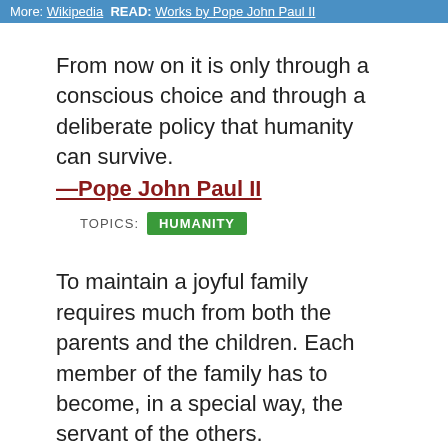More: Wikipedia  READ: Works by Pope John Paul II
From now on it is only through a conscious choice and through a deliberate policy that humanity can survive.
—Pope John Paul II
TOPICS: HUMANITY
To maintain a joyful family requires much from both the parents and the children. Each member of the family has to become, in a special way, the servant of the others.
—Pope John Paul II
TOPICS: PARENTS